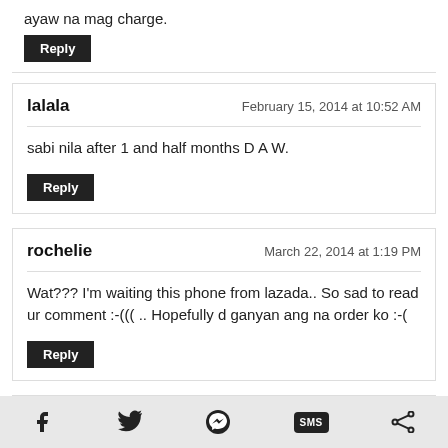ayaw na mag charge.
Reply
lalala — February 15, 2014 at 10:52 AM
sabi nila after 1 and half months D A W.
Reply
rochelie — March 22, 2014 at 1:19 PM
Wat??? I'm waiting this phone from lazada.. So sad to read ur comment :-((( .. Hopefully d ganyan ang na order ko :-(
Reply
mhijz — April 27, 2015 at 11:15 AM
saan pwede pwd na store makakabili ng battery ng nitro 400d
Reply